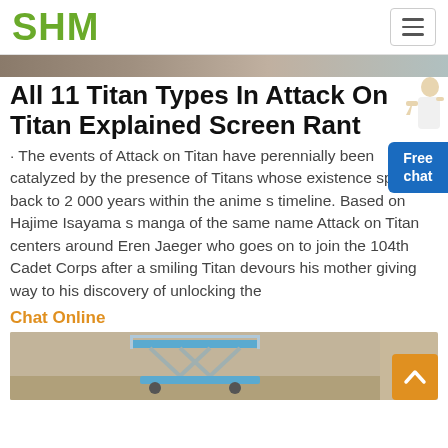SHM
[Figure (photo): Partial top strip of an image, cropped]
All 11 Titan Types In Attack On Titan Explained Screen Rant
· The events of Attack on Titan have perennially been catalyzed by the presence of Titans whose existence spans back to 2 000 years within the anime s timeline. Based on Hajime Isayama s manga of the same name Attack on Titan centers around Eren Jaeger who goes on to join the 104th Cadet Corps after a smiling Titan devours his mother giving way to his discovery of unlocking the
Chat Online
[Figure (photo): Construction equipment - scissor lift on a construction site]